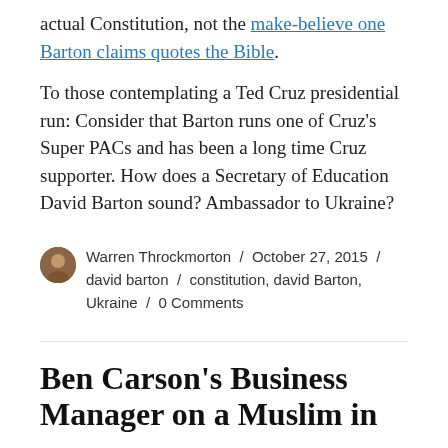actual Constitution, not the make-believe one Barton claims quotes the Bible. To those contemplating a Ted Cruz presidential run: Consider that Barton runs one of Cruz's Super PACs and has been a long time Cruz supporter. How does a Secretary of Education David Barton sound? Ambassador to Ukraine?
Warren Throckmorton / October 27, 2015 / david barton / constitution, david Barton, Ukraine / 0 Comments
Ben Carson's Business Manager on a Muslim in